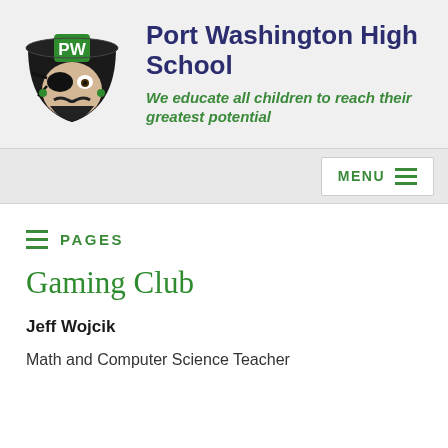[Figure (logo): Port Washington High School pirate mascot logo with 'PW' letters in green on a black pirate hat]
Port Washington High School
We educate all children to reach their greatest potential
MENU
PAGES
Gaming Club
Jeff Wojcik
Math and Computer Science Teacher